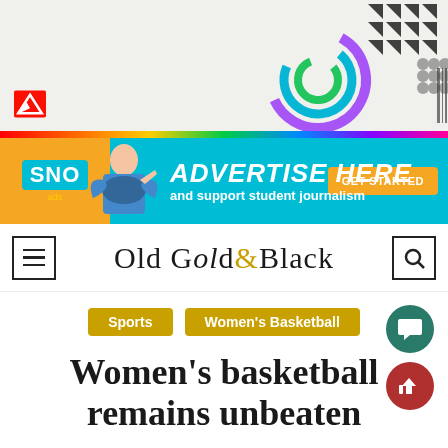[Figure (illustration): Adobe MAX – The Creativity Conference banner ad. White/grey background with geometric black triangle pattern top right, diagonal stripes bottom left, rainbow gradient stripe bottom, colorful circular graphic, Adobe logo. Text: Adobe MAX / The Creativity Conference / A free virtual event Oct 18–20 / Register for free button.]
[Figure (illustration): SNO ads banner: cyan/teal background, orange left panel with SNO ads logo, photo of student girl pointing, large italic white text ADVERTISE HERE and support student journalism, orange GET STARTED button.]
[Figure (logo): Old Gold & Black newspaper logo navigation bar with hamburger menu icon on left and search icon on right. Blackletter/gothic font, ampersand in gold color.]
Sports
Women's Basketball
Women's basketball remains unbeaten